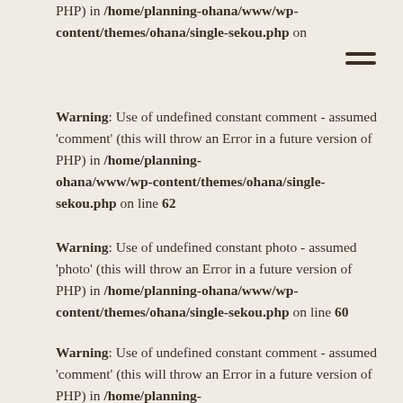PHP) in /home/planning-ohana/www/wp-content/themes/ohana/single-sekou.php on
Warning: Use of undefined constant comment - assumed 'comment' (this will throw an Error in a future version of PHP) in /home/planning-ohana/www/wp-content/themes/ohana/single-sekou.php on line 62
Warning: Use of undefined constant photo - assumed 'photo' (this will throw an Error in a future version of PHP) in /home/planning-ohana/www/wp-content/themes/ohana/single-sekou.php on line 60
Warning: Use of undefined constant comment - assumed 'comment' (this will throw an Error in a future version of PHP) in /home/planning-ohana/www/wp-content/themes/ohana/single-sekou.php on line 62